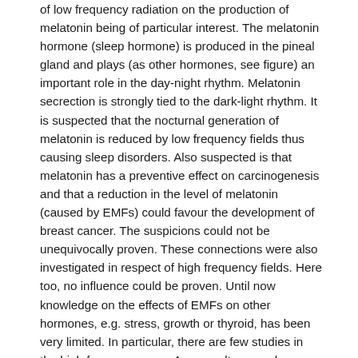of low frequency radiation on the production of melatonin being of particular interest. The melatonin hormone (sleep hormone) is produced in the pineal gland and plays (as other hormones, see figure) an important role in the day-night rhythm. Melatonin secrection is strongly tied to the dark-light rhythm. It is suspected that the nocturnal generation of melatonin is reduced by low frequency fields thus causing sleep disorders. Also suspected is that melatonin has a preventive effect on carcinogenesis and that a reduction in the level of melatonin (caused by EMFs) could favour the development of breast cancer. The suspicions could not be unequivocally proven. These connections were also investigated in respect of high frequency fields. Here too, no influence could be proven. Until now knowledge on the effects of EMFs on other hormones, e.g. stress, growth or thyroid, has been very limited. In particular, there are few studies in the high frequency area. As a result a sound assessment is not yet possible.